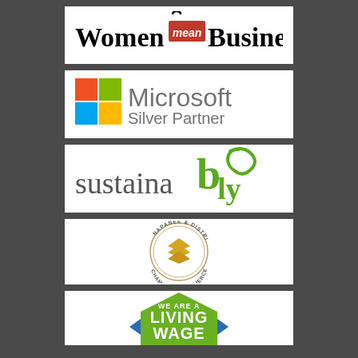[Figure (logo): Women Mean Business logo — serif text with 'mean' in a red shopping bag badge]
[Figure (logo): Microsoft Silver Partner logo with 4-color Windows grid icon]
[Figure (logo): Sustainably logo — grey serif text with green stylized 'bly' ending]
[Figure (logo): Napanee & District Chamber of Commerce circular badge logo with gold chevrons]
[Figure (logo): We Are A Living Wage hexagonal green badge logo (partially visible)]